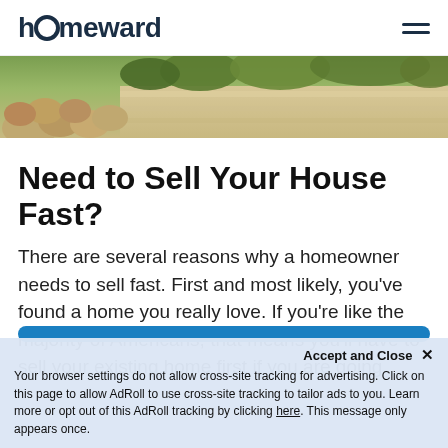homeward
[Figure (photo): Exterior landscape photo showing rocks and stone steps with green shrubs/trees in background]
Need to Sell Your House Fast?
There are several reasons why a homeowner needs to sell fast. First and most likely, you've found a home you really love. If you're like the majority of Americans, that means you'll have to sell your existing home first if you are going
Accept and Close ✕
Your browser settings do not allow cross-site tracking for advertising. Click on this page to allow AdRoll to use cross-site tracking to tailor ads to you. Learn more or opt out of this AdRoll tracking by clicking here. This message only appears once.